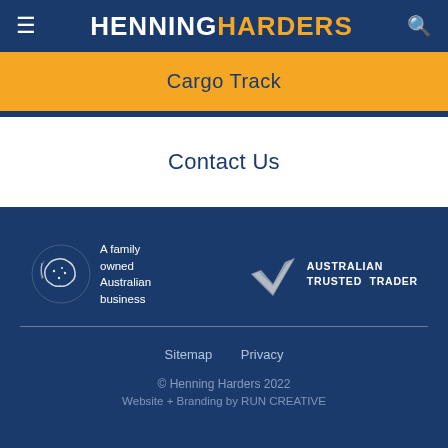HENNING HARDERS
Cargo Track
Contact Us
[Figure (logo): A family owned Australian business logo with outline of Australia map and stars]
[Figure (logo): Australian Trusted Trader logo with checkmark/tick graphic]
Sitemap   Privacy
© Henning Harders 2022
Website + Branding by RUN CREATIVE